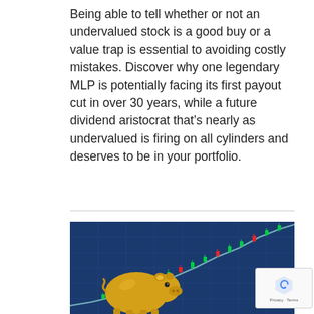Being able to tell whether or not an undervalued stock is a good buy or a value trap is essential to avoiding costly mistakes. Discover why one legendary MLP is potentially facing its first payout cut in over 30 years, while a future dividend aristocrat that’s nearly as undervalued is firing on all cylinders and deserves to be in your portfolio.
[Figure (photo): A golden piggy bank sitting in front of a stock market chart showing an upward trending line with green and red candlestick patterns on a blue background]